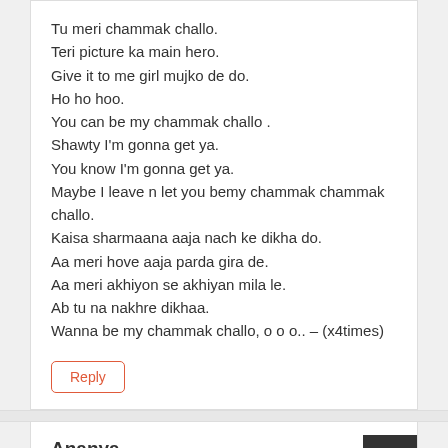Tu meri chammak challo.
Teri picture ka main hero.
Give it to me girl mujko de do.
Ho ho hoo.
You can be my chammak challo .
Shawty I'm gonna get ya.
You know I'm gonna get ya.
Maybe I leave n let you bemy chammak chammak challo.
Kaisa sharmaana aaja nach ke dikha do.
Aa meri hove aaja parda gira de.
Aa meri akhiyon se akhiyan mila le.
Ab tu na nakhre dikhaa.
Wanna be my chammak challo, o o o.. – (x4times)
Reply
Ananya
September 19, 2011 at 1:40 pm